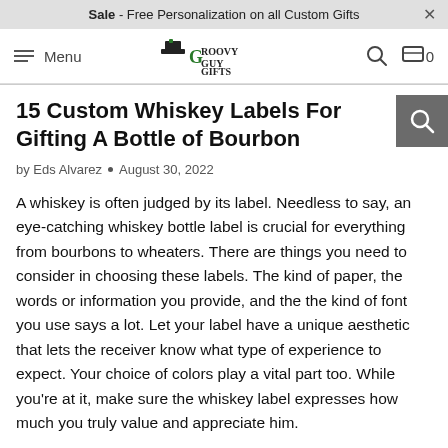Sale - Free Personalization on all Custom Gifts
[Figure (logo): Groovy Guy Gifts logo with top hat icon, navigation menu, search icon, and cart icon showing 0 items]
15 Custom Whiskey Labels For Gifting A Bottle of Bourbon
by Eds Alvarez • August 30, 2022
A whiskey is often judged by its label. Needless to say, an eye-catching whiskey bottle label is crucial for everything from bourbons to wheaters. There are things you need to consider in choosing these labels. The kind of paper, the words or information you provide, and the the kind of font you use says a lot. Let your label have a unique aesthetic that lets the receiver know what type of experience to expect. Your choice of colors play a vital part too. While you're at it, make sure the whiskey label expresses how much you truly value and appreciate him.